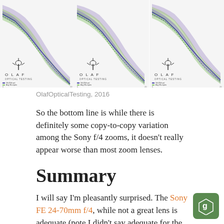[Figure (continuous-plot): Three OLAF Optical Testing charts showing copy-to-copy variation curves (purple and green shaded bands) for Sony f/4 zoom lenses, displayed side by side.]
OlafOpticalTesting, 2016
So the bottom line is while there is definitely some copy-to-copy variation among the Sony f/4 zooms, it doesn't really appear worse than most zoom lenses.
Summary
I will say I'm pleasantly surprised. The Sony FE 24-70mm f/4, while not a great lens is adequate (note I didn't say adequate for the price, I said adequate) and its copy-to-copy variation isn't bad. The Sony FE 16-35mm f/4 actually is excellent for an ultra-wide zoom, and again, it seems to have decent sample variation. Would I buy them? Probably not the 24-70 f/4 unless I